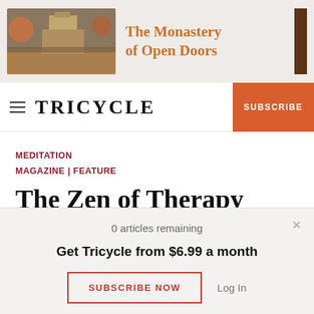[Figure (illustration): Ad banner for The Monastery of Open Doors with temple image on left and brown bar on right]
TRICYCLE
MEDITATION MAGAZINE | FEATURE
The Zen of Therapy
A conversation with the Buddhist psychotherapist Mark
0 articles remaining
Get Tricycle from $6.99 a month
SUBSCRIBE NOW   Log In